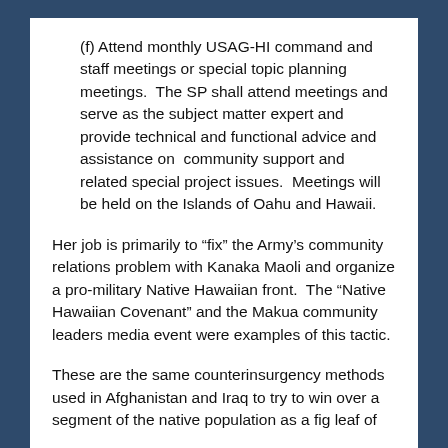(f) Attend monthly USAG-HI command and staff meetings or special topic planning meetings.  The SP shall attend meetings and serve as the subject matter expert and provide technical and functional advice and assistance on  community support and related special project issues.  Meetings will be held on the Islands of Oahu and Hawaii.
Her job is primarily to “fix” the Army’s community relations problem with Kanaka Maoli and organize a pro-military Native Hawaiian front.  The “Native Hawaiian Covenant” and the Makua community leaders media event were examples of this tactic.
These are the same counterinsurgency methods used in Afghanistan and Iraq to try to win over a segment of the native population as a fig leaf of